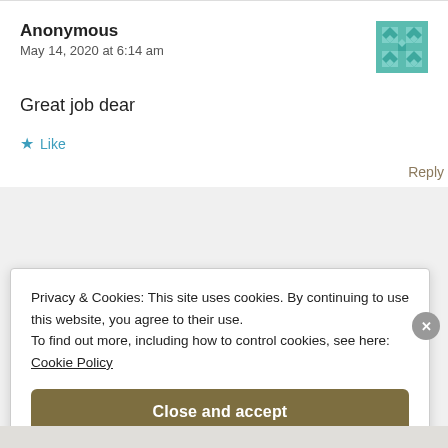Anonymous
May 14, 2020 at 6:14 am
Great job dear
★ Like
Reply
Privacy & Cookies: This site uses cookies. By continuing to use this website, you agree to their use.
To find out more, including how to control cookies, see here:
Cookie Policy
Close and accept